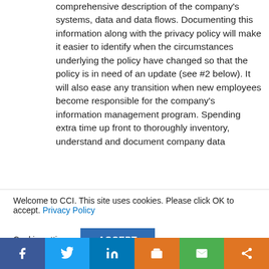comprehensive description of the company's systems, data and data flows. Documenting this information along with the privacy policy will make it easier to identify when the circumstances underlying the policy have changed so that the policy is in need of an update (see #2 below). It will also ease any transition when new employees become responsible for the company's information management program. Spending extra time up front to thoroughly inventory, understand and document company data
Welcome to CCI. This site uses cookies. Please click OK to accept. Privacy Policy
Cookie settings   ACCEPT